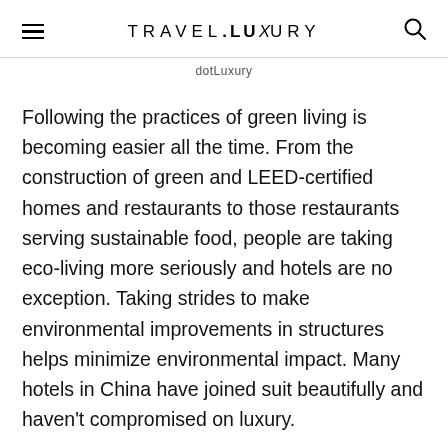TRAVEL.LUXURY
dotLuxury
Following the practices of green living is becoming easier all the time. From the construction of green and LEED-certified homes and restaurants to those restaurants serving sustainable food, people are taking eco-living more seriously and hotels are no exception. Taking strides to make environmental improvements in structures helps minimize environmental impact. Many hotels in China have joined suit beautifully and haven't compromised on luxury.